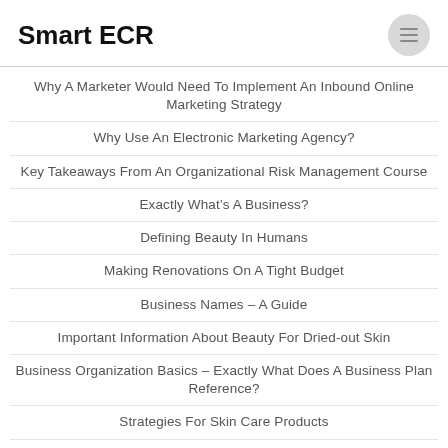Smart ECR
Why A Marketer Would Need To Implement An Inbound Online Marketing Strategy
Why Use An Electronic Marketing Agency?
Key Takeaways From An Organizational Risk Management Course
Exactly What’s A Business?
Defining Beauty In Humans
Making Renovations On A Tight Budget
Business Names – A Guide
Important Information About Beauty For Dried-out Skin
Business Organization Basics – Exactly What Does A Business Plan Reference?
Strategies For Skin Care Products
Why You Should Use Digital Marketing Channels As An Alternative